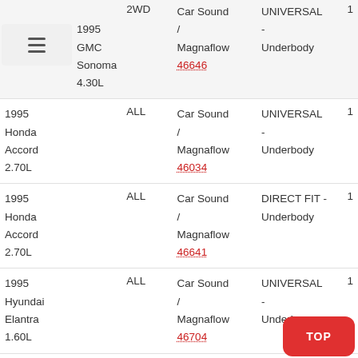| Vehicle | Drive | Brand / Part | Type | Qty |
| --- | --- | --- | --- | --- |
| 1995 GMC Sonoma 4.30L | 2WD | Car Sound / Magnaflow 46646 | UNIVERSAL - Underbody | 1 |
| 1995 Honda Accord 2.70L | ALL | Car Sound / Magnaflow 46034 | UNIVERSAL - Underbody | 1 |
| 1995 Honda Accord 2.70L | ALL | Car Sound / Magnaflow 46641 | DIRECT FIT - Underbody | 1 |
| 1995 Hyundai Elantra 1.60L | ALL | Car Sound / Magnaflow 46704 | UNIVERSAL - Underbody | 1 |